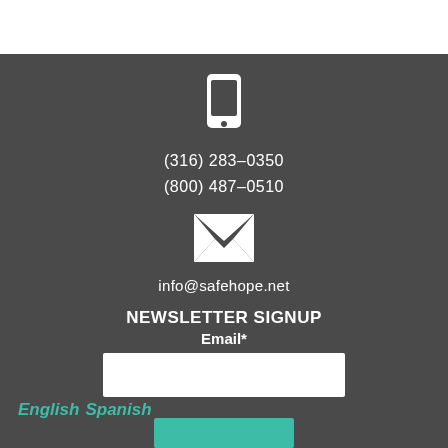[Figure (illustration): White smartphone/mobile phone icon on dark gray background]
(316) 283–0350
(800) 487–0510
[Figure (illustration): White envelope/email icon on dark gray background]
info@safehope.net
NEWSLETTER SIGNUP
Email*
English Spanish